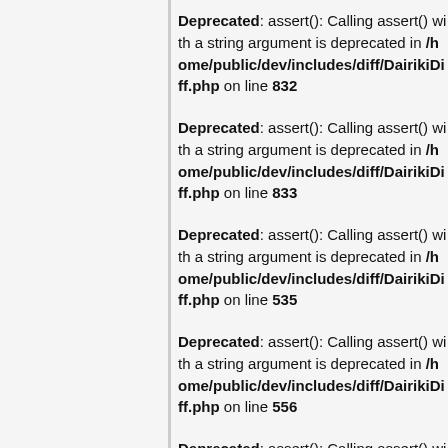Deprecated: assert(): Calling assert() with a string argument is deprecated in /home/public/dev/includes/diff/DairikiDiff.php on line 832
Deprecated: assert(): Calling assert() with a string argument is deprecated in /home/public/dev/includes/diff/DairikiDiff.php on line 833
Deprecated: assert(): Calling assert() with a string argument is deprecated in /home/public/dev/includes/diff/DairikiDiff.php on line 535
Deprecated: assert(): Calling assert() with a string argument is deprecated in /home/public/dev/includes/diff/DairikiDiff.php on line 556
Deprecated: assert(): Calling assert() with a string argument is deprecated in /home/public/dev/includes/diff/DairikiDiff.php on line 556